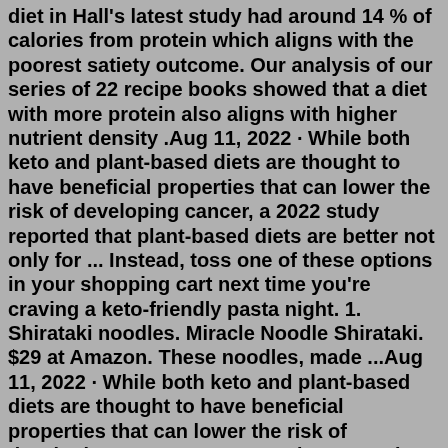diet in Hall's latest study had around 14 % of calories from protein which aligns with the poorest satiety outcome. Our analysis of our series of 22 recipe books showed that a diet with more protein also aligns with higher nutrient density .Aug 11, 2022 · While both keto and plant-based diets are thought to have beneficial properties that can lower the risk of developing cancer, a 2022 study reported that plant-based diets are better not only for ... Instead, toss one of these options in your shopping cart next time you're craving a keto-friendly pasta night. 1. Shirataki noodles. Miracle Noodle Shirataki. $29 at Amazon. These noodles, made ...Aug 11, 2022 · While both keto and plant-based diets are thought to have beneficial properties that can lower the risk of developing cancer, a 2022 study reported that plant-based diets are better not only for ... Reset Your Body and Mind Through the Ultimate Guide to Plant-Based Ketogenic Diet With 30 Healthy Recipes to Boost Energy and Lose Weight Quickly. By: Del Gundry. Narrated by: Barron Theodore. Length: 3